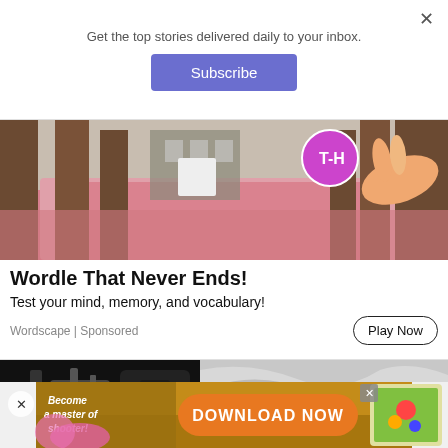Get the top stories delivered daily to your inbox.
Subscribe
[Figure (screenshot): Screenshot of a Wordle game advertisement showing a path through pink-petal-covered trees with a hand pointing at a letter on a sign]
Wordle That Never Ends!
Test your mind, memory, and vocabulary!
Wordscape | Sponsored
Play Now
[Figure (photo): Advertisement showing dental or medical chairs/equipment in a clinical setting with a plant]
[Figure (screenshot): Bottom banner advertisement: 'Become a master of shooter! DOWNLOAD NOW' with game imagery]